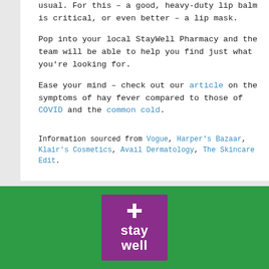usual. For this – a good, heavy-duty lip balm is critical, or even better – a lip mask.
Pop into your local StayWell Pharmacy and the team will be able to help you find just what you're looking for.
Ease your mind – check out our article on the symptoms of hay fever compared to those of COVID and the common cold.
Information sourced from Vogue, Harper's Bazaar, Klair's Cosmetics, Avail Dermatology, The Skincare Edit.
[Figure (logo): StayWell pharmacy logo — white cross and 'stay well' text on purple square background, centered on green footer]